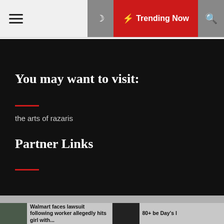☰  ☾  ⚡ Trending Now  🔍
You may want to visit:
the arts of razaris
Partner Links
Copyright famsho.com All right reserved Theme: Default Mag by ThemeInWP
Walmart faces lawsuit following worker allegedly hits girl with...
80+ be Day's l